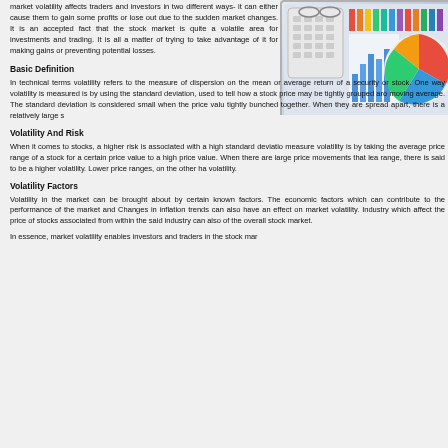market volatility affects traders and investors in two different ways- it can either cause them to gain some profits or lose out due to the sudden market changes. It is an accepted fact that the stock market is quite a volatile area for investments and trading. It is all a matter of trying to take advantage of it for making gains or preventing potential losses.
[Figure (photo): Photo of financial charts, pie chart, calculator and glasses on desk]
Basic Definition
In technical terms volatility refers to the measure of dispersion on the mean or average return of a security or stock. One way volatility is measured is by using the standard deviation, used to tell how a stock price may be tightly grouped around the moving average. The standard deviation is considered small when the price values are tightly bunched together. When they are spread apart, there is a relatively large standard deviation.
Volatility And Risk
When it comes to stocks, a higher risk is associated with a high standard deviation. Another way to measure volatility is by taking the average price range of a stock for a certain period, going from a low price value to a high price value. When there are large price movements that lead to a wide price range, there is said to be a higher volatility. Lower price ranges, on the other hand, indicate lower volatility.
Volatility Factors
Volatility in the market can be brought about by certain known factors. There are several economic factors which can contribute to the performance of the market and affect volatility. Changes in inflation trends can also have an effect on market volatility. Industry performance which affect the price of stocks associated from within the said industry can also affect the level of the overall stock market.
In essence, market volatility enables investors and traders in the stock market...